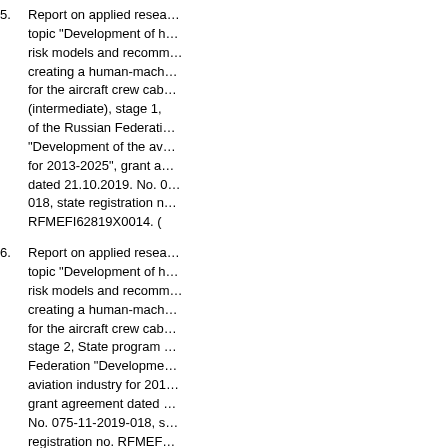Report on applied research on the topic "Development of human factor risk models and recommendations for creating a human-machine interface for the aircraft crew cabin (intermediate), stage 1, State program of the Russian Federation "Development of the aviation industry for 2013-2025", grant agreement dated 21.10.2019. No. 075-11-2019-018, state registration no. RFMEFI62819X0014. (In Russ.).
Report on applied research on the topic "Development of human factor risk models and recommendations for creating a human-machine interface for the aircraft crew cabin (final), stage 2, State program of the Russian Federation "Development of the aviation industry for 2013-2025", grant agreement dated 21.10.2019. No. 075-11-2019-018, state registration no. RFMEFI62819X0014. (In Russ.).
Kuravsky L.S., Yuryev G.A. A Bayesian approach for recognizing the error-prone activities of operators of complex technical systems: three different metrics for comparing probabilistic patterns, International Journal of Advanced Research in...